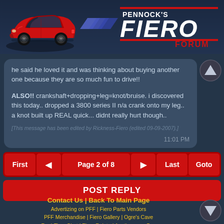[Figure (logo): Pennock's Fiero Forum logo with red Pontiac Fiero car illustration on left and stylized text logo on right]
he said he loved it and was thinking about buying another one because they are so much fun to drive!!

ALSO!! crankshaft+dropping+leg=knot/bruise. i discovered this today.. dropped a 3800 series II n/a crank onto my leg.. a knot built up REAL quick... didnt really hurt though..

[This message has been edited by Rickness-Fiero (edited 09-09-2007).]

11:01 PM
First
◄
Page 2 of 8
►
Last
Goto
POST REPLY
Contact Us | Back To Main Page
Advertizing on PFF | Fiero Parts Vendors
PFF Merchandise | Fiero Gallery | Ogre's Cave
Real-Time Chat | Fiero Related Auctions on eBay